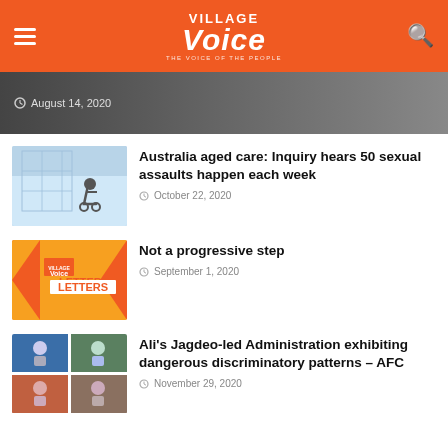Village Voice
August 14, 2020
Australia aged care: Inquiry hears 50 sexual assaults happen each week
October 22, 2020
Not a progressive step
September 1, 2020
Ali's Jagdeo-led Administration exhibiting dangerous discriminatory patterns – AFC
November 29, 2020